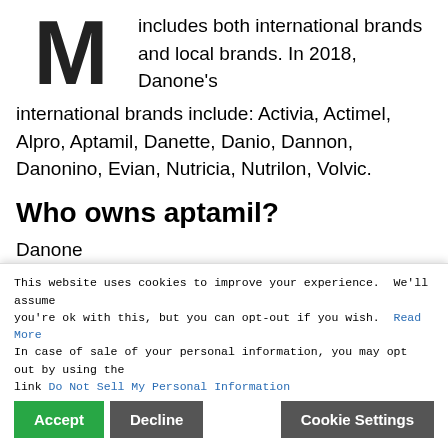[Figure (logo): Large bold letter M logo]
includes both international brands and local brands. In 2018, Danone's international brands include: Activia, Actimel, Alpro, Aptamil, Danette, Danio, Dannon, Danonino, Evian, Nutricia, Nutrilon, Volvic.
Who owns aptamil?
Danone
Danone, the French food company that makes
Aptamil, has changed three of its formulas recently.
Is Danone ethical?
At Danone we aim to establish fair and ethical relationships with our customers based on clear and
business. Where n place, we encourage our customers to adopt
This website uses cookies to improve your experience. We'll assume you're ok with this, but you can opt-out if you wish. Read More
In case of sale of your personal information, you may opt out by using the link Do Not Sell My Personal Information